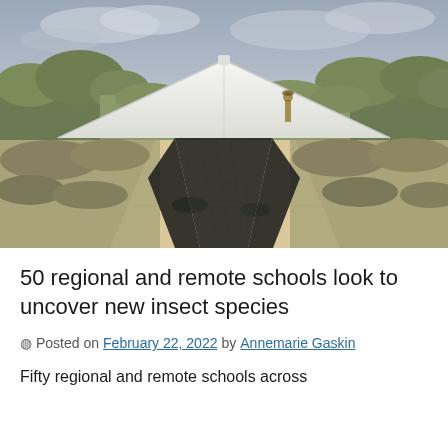[Figure (photo): Outdoor insect malaise trap set up in Australian scrubland/bush. A white triangular canopy is stretched over a dark black mesh body forming a tent-like structure in the middle of a sandy dirt path surrounded by native shrubs and low vegetation under a cloudy sky. A person is visible in the background.]
50 regional and remote schools look to uncover new insect species
Posted on February 22, 2022 by Annemarie Gaskin
Fifty regional and remote schools across